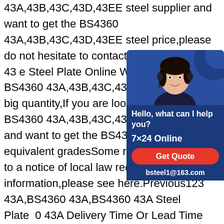43A,43B,43C,43D,43EE steel supplier and want to get the BS4360 43A,43B,43C,43D,43EE steel price,please do not hesitate to contact us.bs 4360 grade 43 e Steel Plate Online We can provide BS4360 43A,43B,43C,43D,43EE steel in big quantity,If you are looking for a sincere BS4360 43A,43B,43C,43D,43EE supplier and want to get the BS4360 Cor Steel plate equivalent gradesSome results in response to a notice of local law requirement information,please see here.Previous123 43A,BS4360 43A,BS4360 43A Steel Plate 0 43A Delivery Time Or Lead Time 15-30days 7.BS4360 43A Extra Service Pretreatment (Shot Blasting,Sand Blast,Painting and Galvanized),Cutting Parts,Sample Service,Third Party inspection,UT Test and Size inspection.8.If you have any requirement in steel plate for BS4360 43A,whether the new plate
[Figure (infographic): Chat widget with a photo of a woman wearing a headset, navy blue background, text reading 'Hello, what can I help you?', '7x24 Online', a red 'Get Quote' button, and email 'bsteel1@163.com']